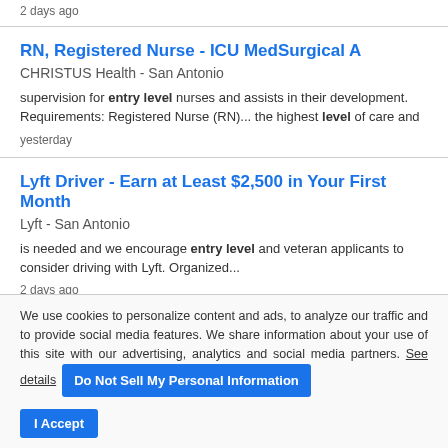2 days ago
RN, Registered Nurse - ICU MedSurgical A
CHRISTUS Health  -  San Antonio
supervision for entry level nurses and assists in their development. Requirements: Registered Nurse (RN)... the highest level of care and
yesterday
Lyft Driver - Earn at Least $2,500 in Your First Month
Lyft  -  San Antonio
is needed and we encourage entry level and veteran applicants to consider driving with Lyft. Organized...
2 days ago
We use cookies to personalize content and ads, to analyze our traffic and to provide social media features. We share information about your use of this site with our advertising, analytics and social media partners. See details   Do Not Sell My Personal Information   I Accept